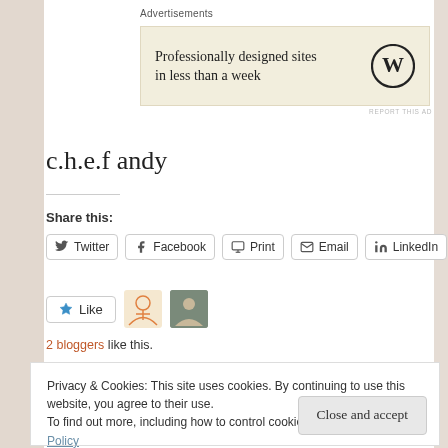Advertisements
[Figure (infographic): WordPress advertisement banner: 'Professionally designed sites in less than a week' with WordPress logo]
c.h.e.f andy
Share this:
Twitter  Facebook  Print  Email  LinkedIn
Like  [avatar icons]  2 bloggers like this.
Privacy & Cookies: This site uses cookies. By continuing to use this website, you agree to their use. To find out more, including how to control cookies, see here: Cookie Policy